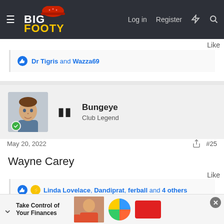BigFooty — Log in | Register
Like
Dr Tigris and Wazza69
Bungeye
Club Legend
May 20, 2022   #25
Wayne Carey
Like
Linda Lovelace, Dandiprat, ferball and 4 others